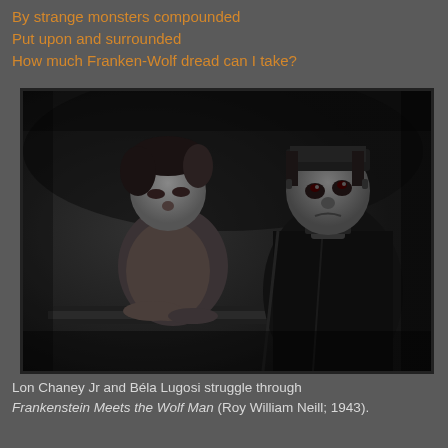By strange monsters compounded
Put upon and surrounded
How much Franken-Wolf dread can I take?
[Figure (photo): Black and white film still showing two men in a dark setting. On the left, a man with dark hair hunches over a table. On the right, a tall imposing man stands upright looking upward, wearing dark clothing consistent with Frankenstein's monster costume.]
Lon Chaney Jr and Béla Lugosi struggle through Frankenstein Meets the Wolf Man (Roy William Neill; 1943).